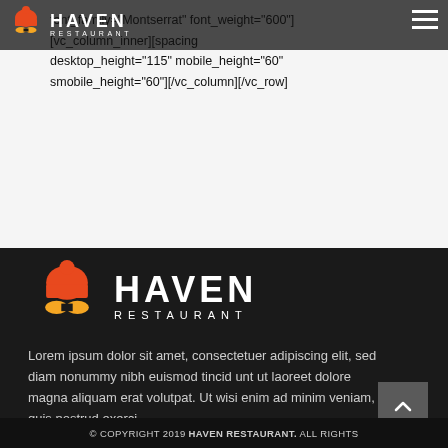[Figure (logo): Haven Restaurant logo with chef hat and mustache icon, small version in dark header bar]
font_family="Montserrat" font_weight="600"] [vc_column_inner][spacing desktop_height="115" mobile_height="60" smobile_height="60"][/vc_column][/vc_row]
[Figure (logo): Haven Restaurant logo large version with chef hat and mustache icon on dark background]
Lorem ipsum dolor sit amet, consectetuer adipiscing elit, sed diam nonummy nibh euismod tincid unt ut laoreet dolore magna aliquam erat volutpat. Ut wisi enim ad minim veniam, quis nostrud exerci
© COPYRIGHT 2019 HAVEN RESTAURANT. ALL RIGHTS